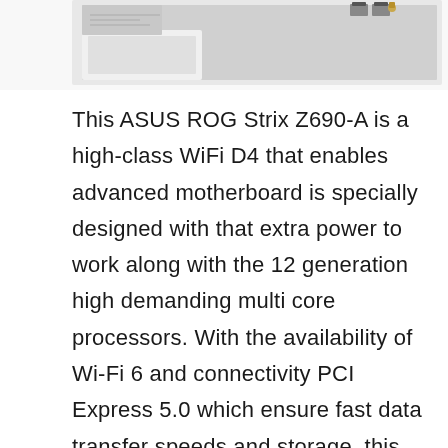[Figure (photo): Partial view of ASUS ROG Strix Z690-A motherboard product photo, cropped at top of page showing connectors and components against white background]
This ASUS ROG Strix Z690-A is a high-class WiFi D4 that enables advanced motherboard is specially designed with that extra power to work along with the 12 generation high demanding multi core processors. With the availability of Wi-Fi 6 and connectivity PCI Express 5.0 which ensure fast data transfer speeds and storage, this ROG Strix Z690-A gaming motherboard is there to level up your gaming experience with its